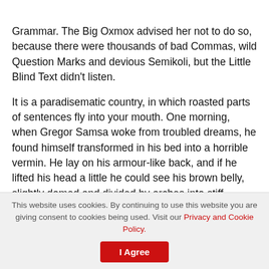Grammar. The Big Oxmox advised her not to do so, because there were thousands of bad Commas, wild Question Marks and devious Semikoli, but the Little Blind Text didn't listen.
It is a paradisematic country, in which roasted parts of sentences fly into your mouth. One morning, when Gregor Samsa woke from troubled dreams, he found himself transformed in his bed into a horrible vermin. He lay on his armour-like back, and if he lifted his head a little he could see his brown belly, slightly domed and divided by arches into stiff sections. The bedding was hardly able to cover it and seemed ready to slide off any moment.
This website uses cookies. By continuing to use this website you are giving consent to cookies being used. Visit our Privacy and Cookie Policy.